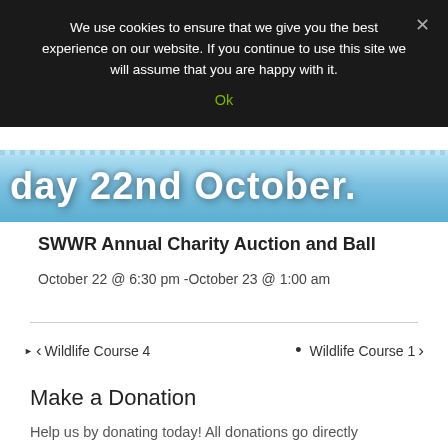We use cookies to ensure that we give you the best experience on our website. If you continue to use this site we will assume that you are happy with it.
Ok
[Figure (illustration): Blue banner with white bold text showing 'day 22nd October.' — partial text visible, with decorative dot border at top]
SWWR Annual Charity Auction and Ball
October 22 @ 6:30 pm -October 23 @ 1:00 am
< Wildlife Course 4
Wildlife Course 1 >
Make a Donation
Help us by donating today! All donations go directly